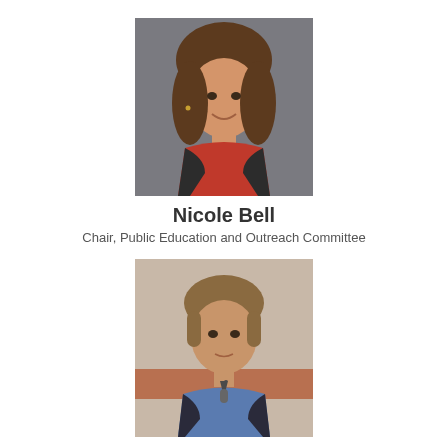[Figure (photo): Professional headshot of Nicole Bell, a woman with brown hair, wearing a black jacket and red top, against a gray background]
Nicole Bell
Chair, Public Education and Outreach Committee
[Figure (photo): Photo of David Cory, a man with light brown hair, wearing a blue shirt and dark jacket with tie, appearing to speak at a podium]
David Cory
Chair, Central Valley Salinity Coalition